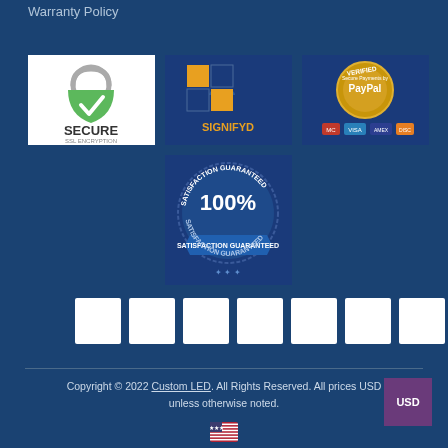Warranty Policy
[Figure (logo): Secure SSL Encryption badge with green padlock and checkmark]
[Figure (logo): SIGNIFYD logo with blue and orange icon]
[Figure (logo): PayPal Verified badge with payment card logos]
[Figure (logo): 100% Satisfaction Guaranteed badge, blue ribbon seal]
[Figure (logo): Row of 7 white social media icon squares]
[Figure (logo): USD currency badge, purple square]
[Figure (logo): US flag icon]
Copyright © 2022 Custom LED. All Rights Reserved. All prices USD unless otherwise noted.